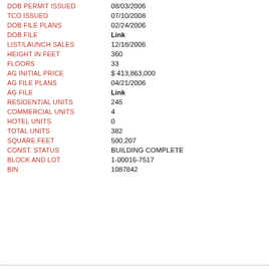| Field | Value |
| --- | --- |
| DOB PERMIT ISSUED | 08/03/2006 |
| TCO ISSUED | 07/10/2008 |
| DOB FILE PLANS | 02/24/2006 |
| DOB FILE | Link |
| LIST/LAUNCH SALES | 12/18/2006 |
| HEIGHT IN FEET | 360 |
| FLOORS | 33 |
| AG INITIAL PRICE | $ 413,863,000 |
| AG FILE PLANS | 04/21/2006 |
| AG FILE | Link |
| RESIDENTIAL UNITS | 245 |
| COMMERCIAL UNITS | 4 |
| HOTEL UNITS | 0 |
| TOTAL UNITS | 382 |
| SQUARE FEET | 500,207 |
| CONST. STATUS | BUILDING COMPLETE |
| BLOCK AND LOT | 1-00016-7517 |
| BIN | 1087842 |